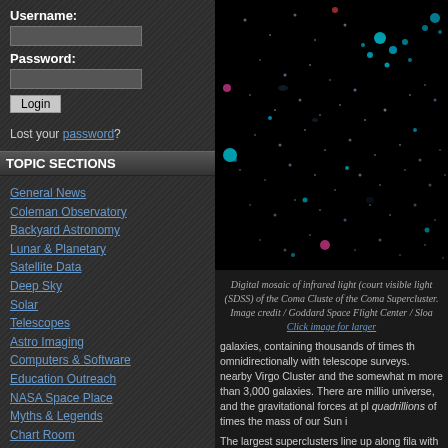Username:
Password:
Login
Lost your password?
TOPIC SECTIONS
General News
Coleman Observatory
Backyard Astronomy
Lunar & Planetary
Satellite Data
Deep Sky
Solar
Telescopes
Astro Imaging
Computers & Software
Education Outreach
NASA Space Place
Myths & Legends
Chart Room
Book Reviews
WHAT'S NEW
STORIES
No new stories
[Figure (photo): Digital mosaic of infrared and visible light of the Coma Cluster, part of the Coma Supercluster. Image credit NASA / Goddard Space Flight Center / Sloan.]
Digital mosaic of infrared light (court visible light (SDSS) of the Coma Cluste of the Coma Supercluster. Image credit / Goddard Space Flight Center / Sloa Click image for larger
galaxies, containing thousands of times th omnidirectionally with telescope surveys. nearby Virgo Cluster and the somewhat m more than 3,000 galaxies. There are millio universe, and the gravitational forces at pl quadrillions of times the mass of our Sun i
The largest superclusters line up along fila with huge intergalactic voids in between th